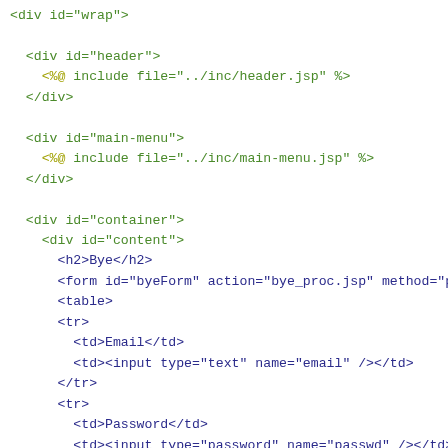Code snippet showing JSP/HTML page structure with div id=wrap, div id=header, JSP include for header, div id=main-menu, JSP include for main-menu, div id=container, div id=content, h2 Bye, form with id=byeForm, table with email, password, and submit rows